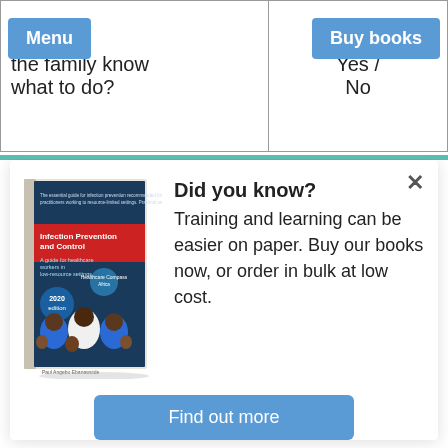| Question | Answer |
| --- | --- |
| the family know what to do? | Yes / No |
[Figure (illustration): Book cover: Infection Prevention and Control – A guide for healthcare workers in low-resource settings, 2020 edition, featuring three smiling healthcare workers giving thumbs up]
Did you know? Training and learning can be easier on paper. Buy our books now, or order in bulk at low cost.
Find out more